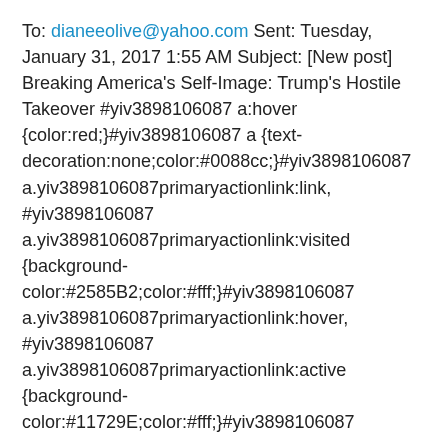To: dianeeolive@yahoo.com Sent: Tuesday, January 31, 2017 1:55 AM Subject: [New post] Breaking America's Self-Image: Trump's Hostile Takeover #yiv3898106087 a:hover {color:red;}#yiv3898106087 a {text-decoration:none;color:#0088cc;}#yiv3898106087 a.yiv3898106087primaryactionlink:link, #yiv3898106087 a.yiv3898106087primaryactionlink:visited {background-color:#2585B2;color:#fff;}#yiv3898106087 a.yiv3898106087primaryactionlink:hover, #yiv3898106087 a.yiv3898106087primaryactionlink:active {background-color:#11729E;color:#fff;}#yiv3898106087